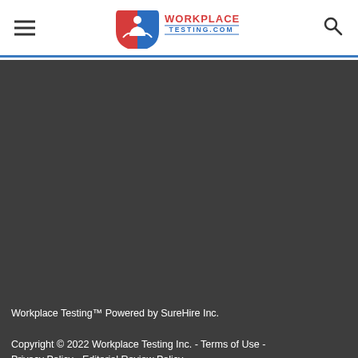WorkplaceTesting.com — navigation header with hamburger menu, logo, and search icon
[Figure (other): Dark gray content area (video or image placeholder)]
Workplace Testing™ Powered by SureHire Inc.
Copyright © 2022 Workplace Testing Inc. - Terms of Use - Privacy Policy - Editorial Review Policy